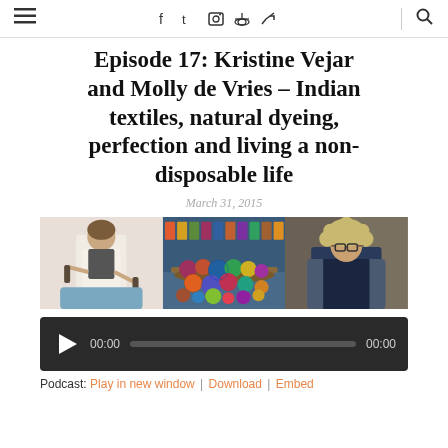≡  f  t  ☷  ℗  )))  🔍
Episode 17: Kristine Vejar and Molly de Vries – Indian textiles, natural dyeing, perfection and living a non-disposable life
March 31, 2015
[Figure (photo): Three-panel photo strip: left panel shows a woman in white apron with textile equipment, center panel shows colorful yarn/fiber balls in a shop, right panel shows a woman with curly hair in a denim jacket]
[Figure (screenshot): Audio player with play button, progress bar, and 00:00 time counters on dark background]
Podcast: Play in new window | Download | Embed